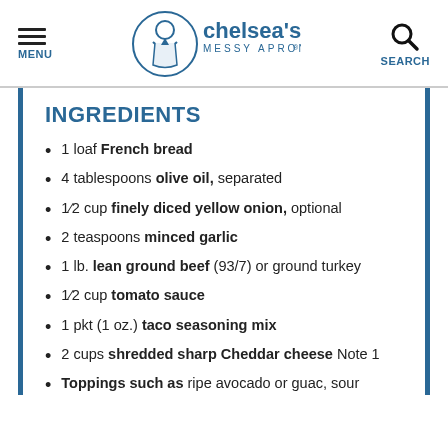MENU | chelsea's MESSY APRON® | SEARCH
INGREDIENTS
1 loaf French bread
4 tablespoons olive oil, separated
1/2 cup finely diced yellow onion, optional
2 teaspoons minced garlic
1 lb. lean ground beef (93/7) or ground turkey
1/2 cup tomato sauce
1 pkt (1 oz.) taco seasoning mix
2 cups shredded sharp Cheddar cheese Note 1
Toppings such as ripe avocado or guac, sour cream, cherry tomatoes, black olives,